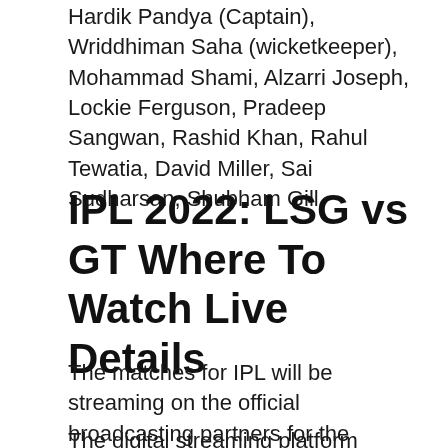Hardik Pandya (Captain), Wriddhiman Saha (wicketkeeper), Mohammad Shami, Alzarri Joseph, Lockie Ferguson, Pradeep Sangwan, Rashid Khan, Rahul Tewatia, David Miller, Sai Sudharsan, Shubham Gill.
IPL 2022: LSG vs GT Where To Watch Live Details
The matches for IPL will be streaming on the official broadcasting partners for the league. The broadcasting rights are with the Star Sports Network.
The digital streaming platform matches the